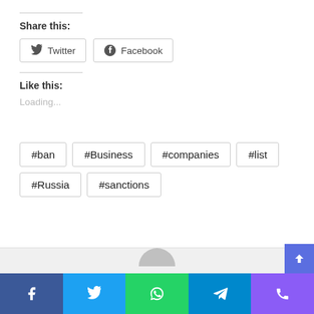Share this:
[Figure (other): Twitter and Facebook share buttons]
Like this:
Loading...
#ban
#Business
#companies
#list
#Russia
#sanctions
[Figure (other): Bottom social media bar with Facebook, Twitter, WhatsApp, Telegram, and Phone icons in blue, cyan, green, teal, and purple]